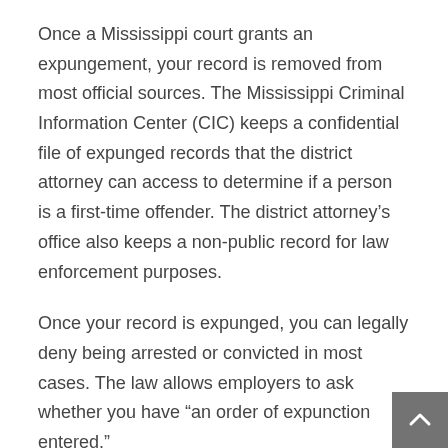Once a Mississippi court grants an expungement, your record is removed from most official sources. The Mississippi Criminal Information Center (CIC) keeps a confidential file of expunged records that the district attorney can access to determine if a person is a first-time offender. The district attorney's office also keeps a non-public record for law enforcement purposes.
Once your record is expunged, you can legally deny being arrested or convicted in most cases. The law allows employers to ask whether you have “an order of expunction entered.”
When Can I Apply for Expungement?
In most instances, you can apply for expungement of a conviction only after you have completed your sentence